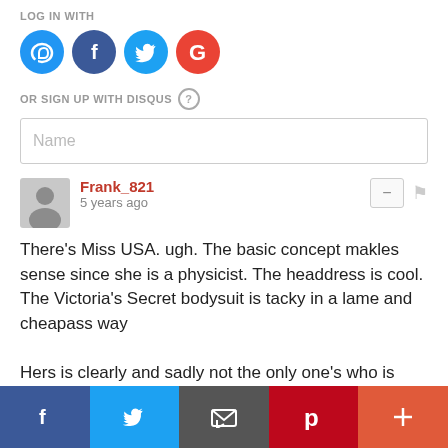LOG IN WITH
[Figure (illustration): Four social login icons: Disqus (blue circle with D), Facebook (dark blue circle with f), Twitter (light blue circle with bird), Google (red circle with G)]
OR SIGN UP WITH DISQUS ?
Name
Frank_821
5 years ago
There's Miss USA. ugh. The basic concept makles sense since she is a physicist. The headdress is cool. The Victoria's Secret bodysuit is tacky in a lame and cheapass way

Hers is clearly and sadly not the only one's who is tacky in that way. just shaking my head
10  |  Reply
Gatita  Frank_821
[Figure (infographic): Bottom share bar with Facebook, Twitter, Email, Pinterest, and More (+) buttons]